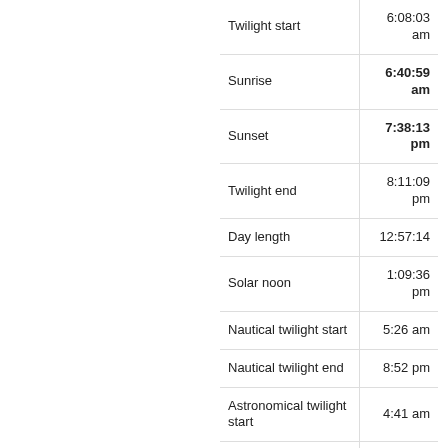| Event | Time |
| --- | --- |
| Twilight start | 6:08:03 am |
| Sunrise | 6:40:59 am |
| Sunset | 7:38:13 pm |
| Twilight end | 8:11:09 pm |
| Day length | 12:57:14 |
| Solar noon | 1:09:36 pm |
| Nautical twilight start | 5:26 am |
| Nautical twilight end | 8:52 pm |
| Astronomical twilight start | 4:41 am |
| Astronomical twilight end | 9:37 pm |
| Tue, Sep 13 |  |
| Twilight start | 6:09:47 am |